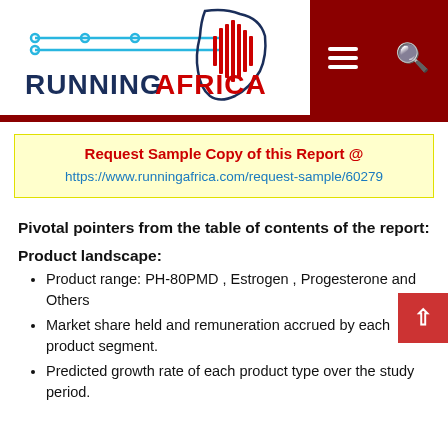[Figure (logo): RunningAfrica logo with Africa outline silhouette with sound wave pattern inside, two horizontal lines with circuit/node icons on left, text RUNNINGAFRICA in dark navy/dark red]
Request Sample Copy of this Report @ https://www.runningafrica.com/request-sample/60279
Pivotal pointers from the table of contents of the report:
Product landscape:
Product range: PH-80PMD , Estrogen , Progesterone and Others
Market share held and remuneration accrued by each product segment.
Predicted growth rate of each product type over the study period.